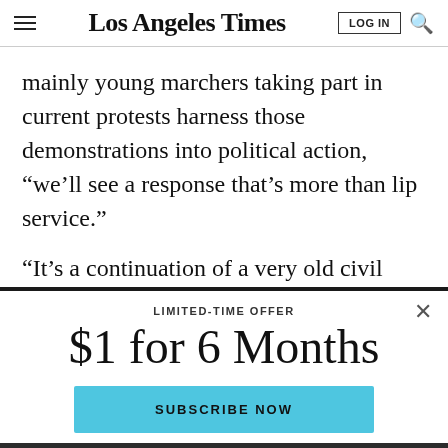Los Angeles Times
mainly young marchers taking part in current protests harness those demonstrations into political action, “we’ll see a response that’s more than lip service.”
“It’s a continuation of a very old civil rights era.” Rice
LIMITED-TIME OFFER
$1 for 6 Months
SUBSCRIBE NOW
By continuing to use our site, you agree to our Terms of Service and Privacy Policy. You can learn more about how we use cookies by reviewing our Privacy Policy. Close